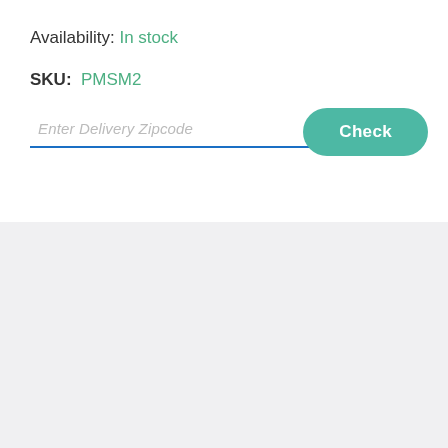Availability: In stock
SKU: PMSM2
[Figure (screenshot): A delivery zipcode input field with placeholder text 'Enter Delivery Zipcode' and a teal rounded 'Check' button]
[Figure (other): Gray background section filling the bottom half of the page]